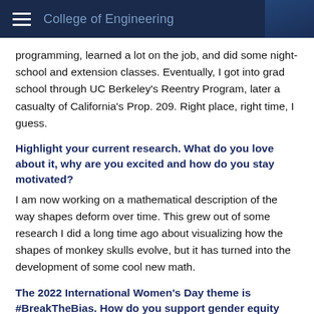College of Engineering
programming, learned a lot on the job, and did some night-school and extension classes. Eventually, I got into grad school through UC Berkeley's Reentry Program, later a casualty of California's Prop. 209. Right place, right time, I guess.
Highlight your current research. What do you love about it, why are you excited and how do you stay motivated?
I am now working on a mathematical description of the way shapes deform over time. This grew out of some research I did a long time ago about visualizing how the shapes of monkey skulls evolve, but it has turned into the development of some cool new math.
The 2022 International Women's Day theme is #BreakTheBias. How do you support gender equity and #BreakTheBias in the engineering field?